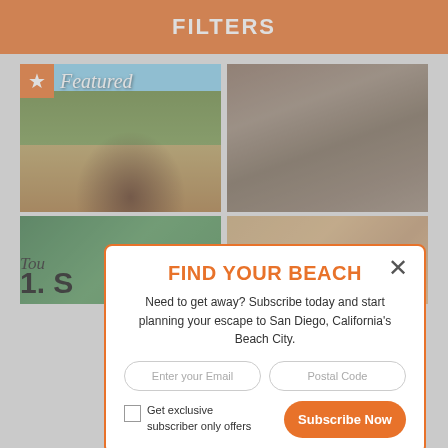FILTERS
[Figure (photo): Two-panel photo grid: left panel shows a hand holding a wine glass over a vineyard landscape with a Featured overlay badge; right panel shows a group of people at a wine tasting event outdoors. Below, partial bottom row shows greenery and food items.]
FIND YOUR BEACH
Need to get away? Subscribe today and start planning your escape to San Diego, California's Beach City.
Enter your Email
Postal Code
Get exclusive subscriber only offers
Subscribe Now